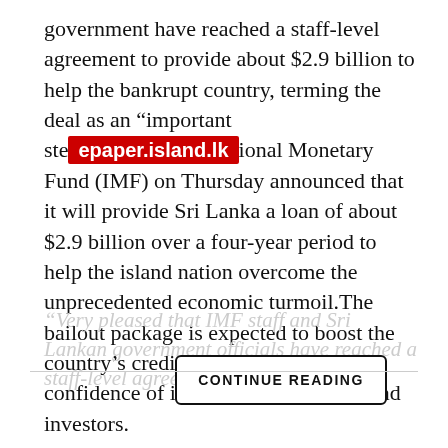government have reached a staff-level agreement to provide about $2.9 billion to help the bankrupt country, terming the deal as an “important ste[epaper.island.lk]ional Monetary Fund (IMF) on Thursday announced that it will provide Sri Lanka a loan of about $2.9 billion over a four-year period to help the island nation overcome the unprecedented economic turmoil.The bailout package is expected to boost the country’s credit ratings and the confidence of international creditors and investors.
“Very pleased that IMF staff and Sri Lankan government officials have reached a staff-level agreement to support
CONTINUE READING